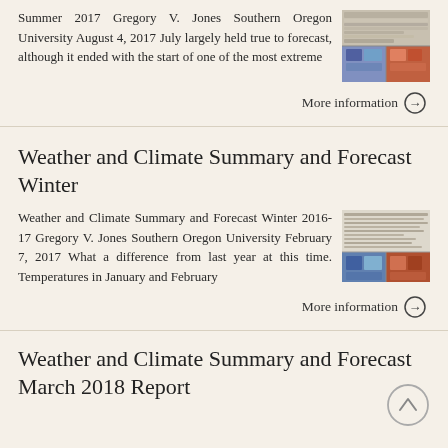Summer 2017 Gregory V. Jones Southern Oregon University August 4, 2017 July largely held true to forecast, although it ended with the start of one of the most extreme
More information →
Weather and Climate Summary and Forecast Winter
Weather and Climate Summary and Forecast Winter 2016-17 Gregory V. Jones Southern Oregon University February 7, 2017 What a difference from last year at this time. Temperatures in January and February
More information →
Weather and Climate Summary and Forecast March 2018 Report